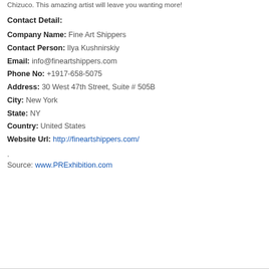Chizuco. This amazing artist will leave you wanting more!
Contact Detail:
Company Name: Fine Art Shippers
Contact Person: Ilya Kushnirskiy
Email: info@fineartshippers.com
Phone No: +1917-658-5075
Address: 30 West 47th Street, Suite # 505B
City: New York
State: NY
Country: United States
Website Url: http://fineartshippers.com/
.
Source: www.PRExhibition.com